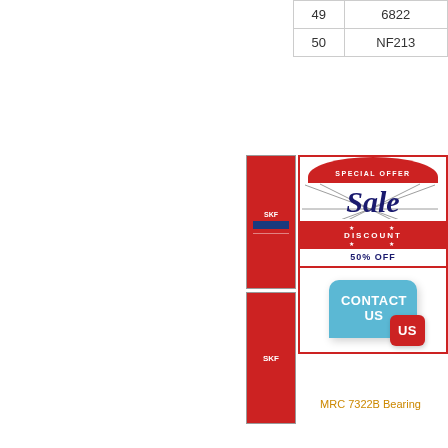|  |  |
| --- | --- |
| 49 | 6822 |
| 50 | NF213 |
[Figure (infographic): Special offer advertisement with 'Sale DISCOUNT 50% OFF' banner in red and navy, and 'CONTACT US' speech bubble in blue and red, alongside SKF bearing product boxes.]
MRC 7322B Bearing